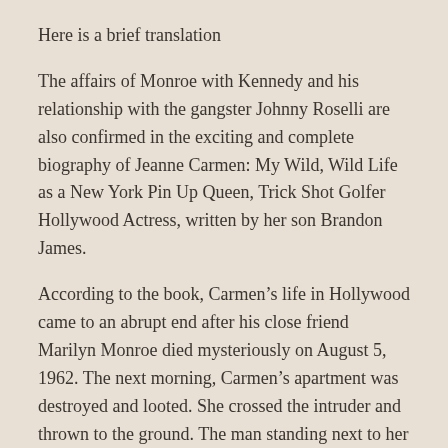Here is a brief translation
The affairs of Monroe with Kennedy and his relationship with the gangster Johnny Roselli are also confirmed in the exciting and complete biography of Jeanne Carmen: My Wild, Wild Life as a New York Pin Up Queen, Trick Shot Golfer Hollywood Actress, written by her son Brandon James.
According to the book, Carmen’s life in Hollywood came to an abrupt end after his close friend Marilyn Monroe died mysteriously on August 5, 1962. The next morning, Carmen’s apartment was destroyed and looted. She crossed the intruder and thrown to the ground. The man standing next to her was the famous Hollywood private detective Fred Otash, who in turn pulled a gun, pointed at her face and fired. Fortunately, the gun barrel of the